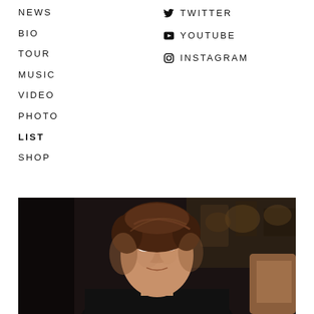NEWS
BIO
TOUR
MUSIC
VIDEO
PHOTO
LIST
SHOP
TWITTER
YOUTUBE
INSTAGRAM
[Figure (photo): Portrait photo of a man with brown hair in a dark setting, possibly a bar or restaurant, wearing dark clothing.]